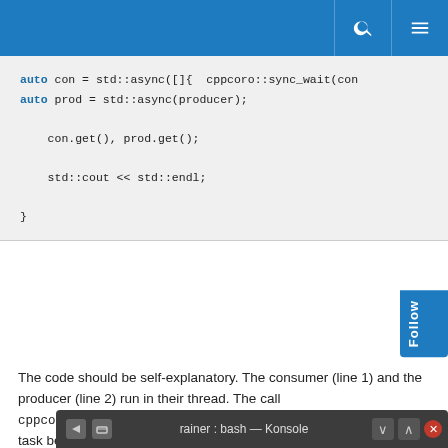auto con = std::async([]{  cppcoro::sync_wait(con
auto prod = std::async(producer);

con.get(), prod.get();

std::cout << std::endl;

}
The code should be self-explanatory. The consumer (line 1) and the producer (line 2) run in their thread. The call cppcoro::sync_wait(consumer()) (line 1) serves as a top-level task because the main function cannot be a coroutine. The call waits until the coroutine consumer is done. The coroutine consumer waits in the call co_await event until someone calls event.set(). The function producer sends this event after a sleep of two seconds.
[Figure (screenshot): Terminal window bar showing 'rainer : bash — Konsole' title with navigation and close controls]